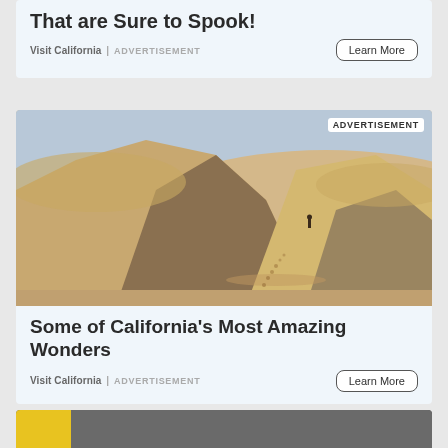That are Sure to Spook!
Visit California | ADVERTISEMENT
Learn More
[Figure (photo): Desert sand dunes with a lone person standing on a ridge, dramatic shadows and blue sky in the background, ADVERTISEMENT badge in top right]
Some of California's Most Amazing Wonders
Visit California | ADVERTISEMENT
Learn More
[Figure (photo): Partial view of a dark image with a yellow block on the lower left, partially visible at bottom of page]